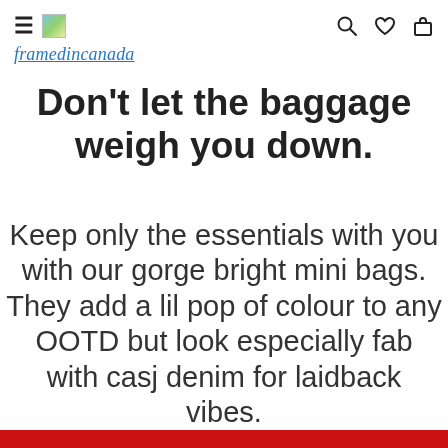framedincanada
Don't let the baggage weigh you down.
Keep only the essentials with you with our gorge bright mini bags. They add a lil pop of colour to any OOTD but look especially fab with casj denim for laidback vibes.